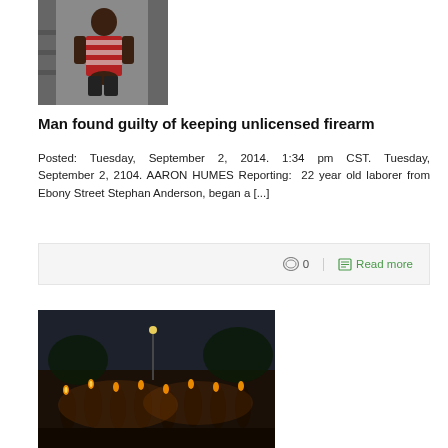[Figure (photo): Young man standing in a striped t-shirt, partial view]
Man found guilty of keeping unlicensed firearm
Posted: Tuesday, September 2, 2014. 1:34 pm CST. Tuesday, September 2, 2104. AARON HUMES Reporting: 22 year old laborer from Ebony Street Stephan Anderson, began a [...]
0   Read more
[Figure (photo): Crowd of people holding candles/torches at night, outdoor gathering]